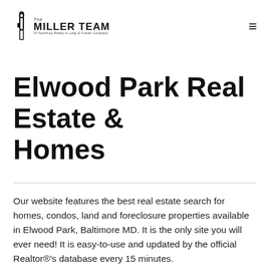The Miller Team Of Northrop Realty A Long & Foster Company
Elwood Park Real Estate & Homes
Our website features the best real estate search for homes, condos, land and foreclosure properties available in Elwood Park, Baltimore MD. It is the only site you will ever need! It is easy-to-use and updated by the official Realtor®'s database every 15 minutes.